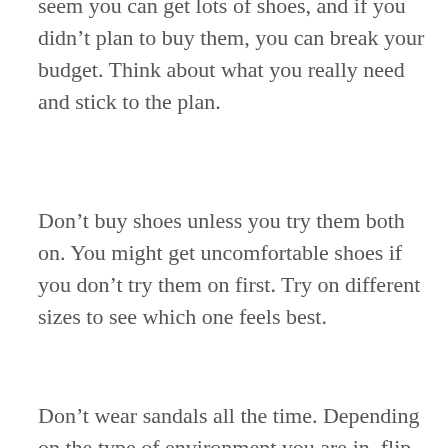Certain sales promotions make it seem you can get lots of shoes, and if you didn't plan to buy them, you can break your budget. Think about what you really need and stick to the plan.
Don't buy shoes unless you try them both on. You might get uncomfortable shoes if you don't try them on first. Try on different sizes to see which one feels best.
Don't wear sandals all the time. Depending on the type of environment you are in, flip-